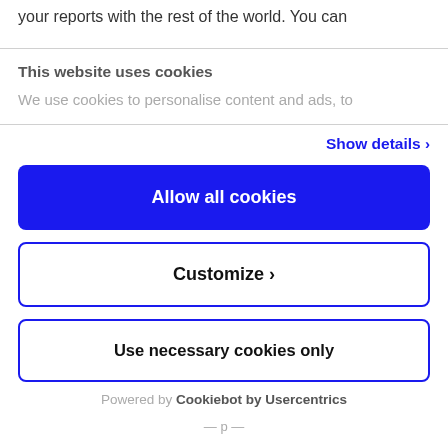your reports with the rest of the world. You can
This website uses cookies
We use cookies to personalise content and ads, to
Show details ›
Allow all cookies
Customize ›
Use necessary cookies only
Powered by Cookiebot by Usercentrics